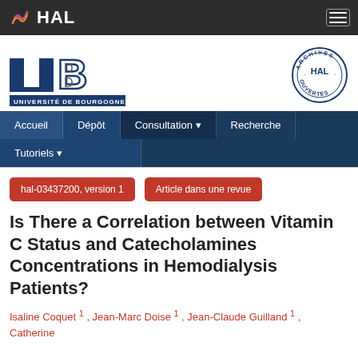[Figure (logo): HAL open archive logo with white text and colorful wave icon on dark bar, plus hamburger menu icon]
[Figure (logo): Université de Bourgogne logo in blue with UB letters and text, plus HAL Archives Ouvertes circular stamp]
Accueil  Dépôt  Consultation  Recherche  Tutoriels
hal-03437200, version 1   Article dans une revue
Is There a Correlation between Vitamin C Status and Catecholamines Concentrations in Hemodialysis Patients?
Isaline Coquet 1 , Jean-Marc Doise 1 , Jean-Claude Guilland 1 , Catherine